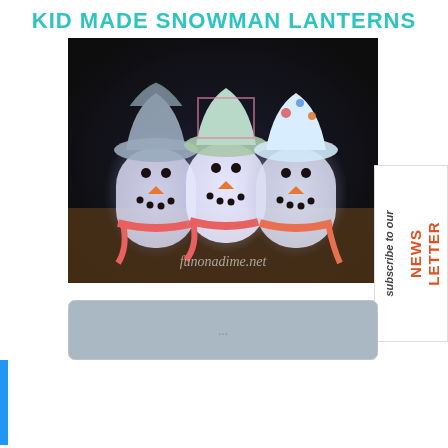KID MADE SNOWMAN LANTERNS
[Figure (photo): Three glowing snowman lanterns made from mason jars with fabric hats and scarves, lit from inside, displaying snowman faces with carrot noses and button eyes. Watermark reads funonadime.net]
[Figure (photo): Partially visible second photo at bottom of page, showing a dark outdoor scene]
[Figure (other): Subscribe to our Newsletter vertical badge on the right side]